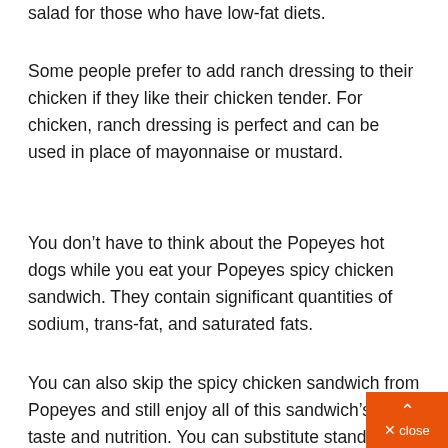salad for those who have low-fat diets.
Some people prefer to add ranch dressing to their chicken if they like their chicken tender. For chicken, ranch dressing is perfect and can be used in place of mayonnaise or mustard.
You don’t have to think about the Popeyes hot dogs while you eat your Popeyes spicy chicken sandwich. They contain significant quantities of sodium, trans-fat, and saturated fats.
You can also skip the spicy chicken sandwich from Popeyes and still enjoy all of this sandwich’s great taste and nutrition. You can substitute standard hot dogs for Popeye hot dog buns. Hot dogs have low fat options, and they taste better